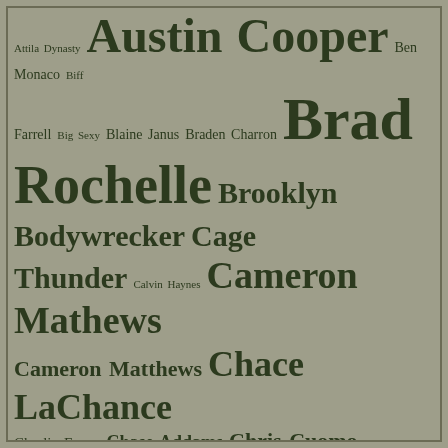[Figure (infographic): Tag cloud of names with varying font sizes indicating popularity/frequency. Names include: Attila Dynasty, Austin Cooper, Ben Monaco, Biff Farrell, Big Sexy, Blaine Janus, Braden Charron, Brad Rochelle, Brooklyn Bodywrecker, Cage Thunder, Calvin Haynes, Cameron Mathews, Cameron Matthews, Chace LaChance, Charlie Evans, Chase Addams, Chris Cuomo, Christian Taylor, Christopher Bruce, Cole Cassidy, Damien Rush, Darius, Denny Cartier, Derek da Silva, Drake Marcos, Eli Black, Enforcer, Ethan Andrews, Gabriel Ross, Gio Benitez, Guido Genatto, Jake Jenkins, Jayden Mayne, Jobe Zander, Joe Robbins, Jonny Firestorm, Joshua]